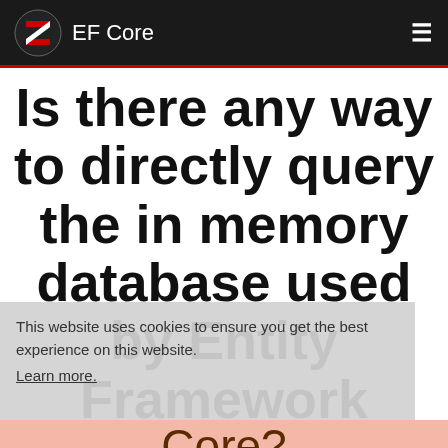EF Core
Is there any way to directly query the in memory database used by Entity Framework Core?
This website uses cookies to ensure you get the best experience on this website.
Learn more.
Core?